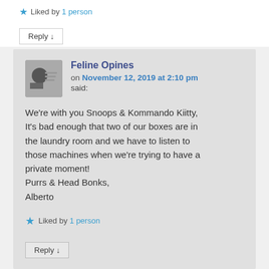★ Liked by 1 person
Reply ↓
Feline Opines on November 12, 2019 at 2:10 pm said:
We're with you Snoops & Kommando Kiitty, It's bad enough that two of our boxes are in the laundry room and we have to listen to those machines when we're trying to have a private moment!
Purrs & Head Bonks,
Alberto
★ Liked by 1 person
Reply ↓